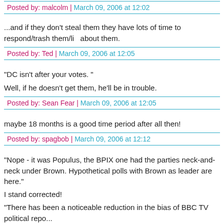Posted by: malcolm | March 09, 2006 at 12:02
...and if they don't steal them they have lots of time to respond/trash them/lie about them.
Posted by: Ted | March 09, 2006 at 12:05
"DC isn't after your votes. "
Well, if he doesn't get them, he'll be in trouble.
Posted by: Sean Fear | March 09, 2006 at 12:05
maybe 18 months is a good time period after all then!
Posted by: spagbob | March 09, 2006 at 12:12
"Nope - it was Populus, the BPIX one had the parties neck-and-neck under Brown. Hypothetical polls with Brown as leader are here."
I stand corrected!
"There has been a noticeable reduction in the bias of BBC TV political repo...